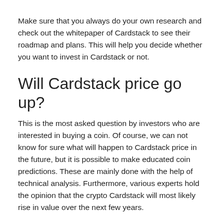Make sure that you always do your own research and check out the whitepaper of Cardstack to see their roadmap and plans. This will help you decide whether you want to invest in Cardstack or not.
Will Cardstack price go up?
This is the most asked question by investors who are interested in buying a coin. Of course, we can not know for sure what will happen to Cardstack price in the future, but it is possible to make educated coin predictions. These are mainly done with the help of technical analysis. Furthermore, various experts hold the opinion that the crypto Cardstack will most likely rise in value over the next few years.
Our team also believes that Cardstack has a lot of potential, and much more room to grow. Taking all these